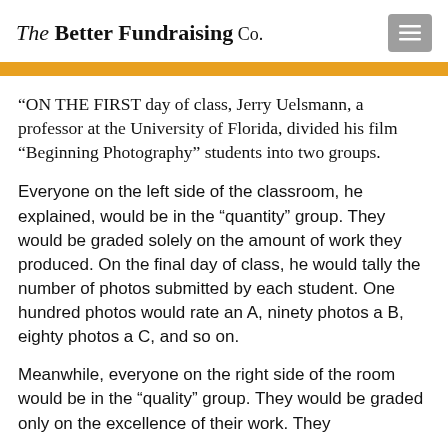The Better Fundraising Co.
“ON THE FIRST day of class, Jerry Uelsmann, a professor at the University of Florida, divided his film “Beginning Photography” students into two groups.
Everyone on the left side of the classroom, he explained, would be in the “quantity” group. They would be graded solely on the amount of work they produced. On the final day of class, he would tally the number of photos submitted by each student. One hundred photos would rate an A, ninety photos a B, eighty photos a C, and so on.
Meanwhile, everyone on the right side of the room would be in the “quality” group. They would be graded only on the excellence of their work. They